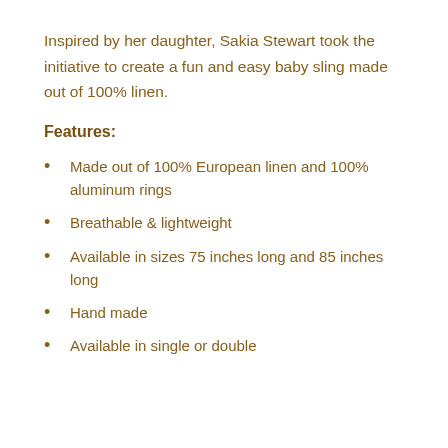Inspired by her daughter, Sakia Stewart took the initiative to create a fun and easy baby sling made out of 100% linen.
Features:
Made out of 100% European linen and 100% aluminum rings
Breathable & lightweight
Available in sizes 75 inches long and 85 inches long
Hand made
Available in single or double